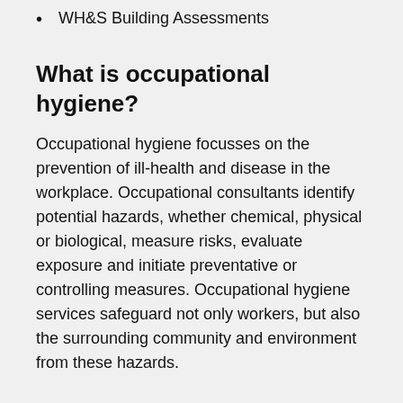WH&S Building Assessments
What is occupational hygiene?
Occupational hygiene focusses on the prevention of ill-health and disease in the workplace. Occupational consultants identify potential hazards, whether chemical, physical or biological, measure risks, evaluate exposure and initiate preventative or controlling measures. Occupational hygiene services safeguard not only workers, but also the surrounding community and environment from these hazards.
What is the role of occupational hygiene?